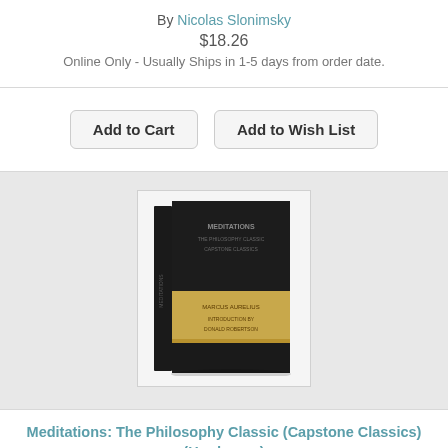By Nicolas Slonimsky
$18.26
Online Only - Usually Ships in 1-5 days from order date.
[Figure (other): Add to Cart and Add to Wish List buttons]
[Figure (photo): Book cover: Meditations: The Philosophy Classic (Capstone Classics) — dark hardcover with gold band]
Meditations: The Philosophy Classic (Capstone Classics) (Hardcover)
By Marcus Aurelius, Tom Butler-Bowdon (Editor), Donald Robertson (Introduction by)
$13.00
Online Only - Usually Ships in 1-5 days from order date.